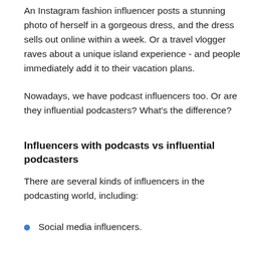An Instagram fashion influencer posts a stunning photo of herself in a gorgeous dress, and the dress sells out online within a week. Or a travel vlogger raves about a unique island experience - and people immediately add it to their vacation plans.
Nowadays, we have podcast influencers too. Or are they influential podcasters? What's the difference?
Influencers with podcasts vs influential podcasters
There are several kinds of influencers in the podcasting world, including:
Social media influencers.